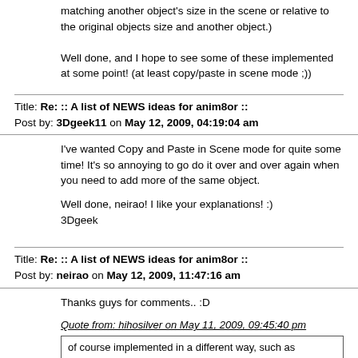matching another object's size in the scene or relative to the original objects size and another object.)

Well done, and I hope to see some of these implemented at some point! (at least copy/paste in scene mode ;))
Title: Re: :: A list of NEWS ideas for anim8or ::
Post by: 3Dgeek11 on May 12, 2009, 04:19:04 am
I've wanted Copy and Paste in Scene mode for quite some time! It's so annoying to go do it over and over again when you need to add more of the same object.

Well done, neirao! I like your explanations! :)
3Dgeek
Title: Re: :: A list of NEWS ideas for anim8or ::
Post by: neirao on May 12, 2009, 11:47:16 am
Thanks guys for comments.. :D
Quote from: hihosilver on May 11, 2009, 09:45:40 pm
of course implemented in a different way, such as matching another object's size in the scene or relative to the original objects size and another object.)
hey Hihosilver, yes, will be cool if Steve implement Math size... for Help him in idea i made THE NEW MENU